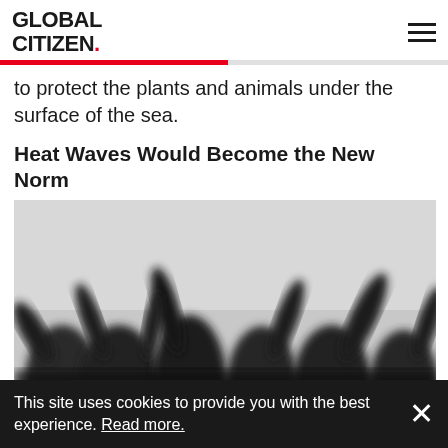GLOBAL CITIZEN.
to protect the plants and animals under the surface of the sea.
Heat Waves Would Become the New Norm
[Figure (photo): Black and white photograph of silhouetted people with arms raised, blurred background, crowd scene]
This site uses cookies to provide you with the best experience. Read more.